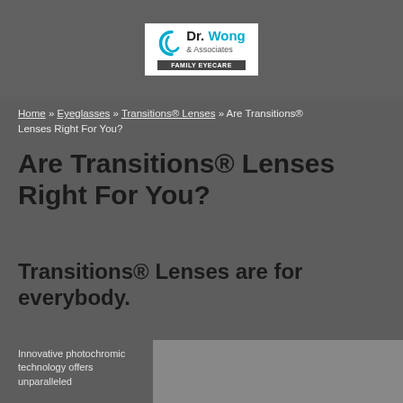[Figure (logo): Dr. Wong & Associates Family Eyecare logo with teal swirl graphic]
Home » Eyeglasses » Transitions® Lenses » Are Transitions® Lenses Right For You?
Are Transitions® Lenses Right For You?
Transitions® Lenses are for everybody.
Innovative photochromic technology offers unparalleled
[Figure (photo): Woman smiling wearing glasses, photographed outdoors]